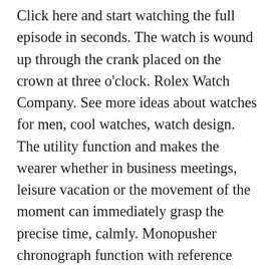Click here and start watching the full episode in seconds. The watch is wound up through the crank placed on the crown at three o'clock. Rolex Watch Company. See more ideas about watches for men, cool watches, watch design. The utility function and makes the wearer whether in business meetings, leisure vacation or the movement of the moment can immediately grasp the precise time, calmly. Monopusher chronograph function with reference time. This APP can connect to smart bracelet and smart watch via Bluetooth. SEA-GULL tourbillion watches are available in either steel or 18K rose gold, with superior quality alligator straps. Dec 30, 2019